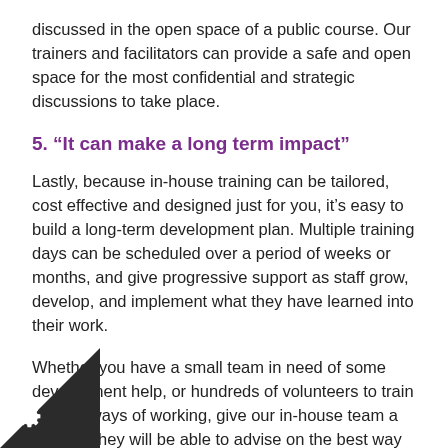discussed in the open space of a public course. Our trainers and facilitators can provide a safe and open space for the most confidential and strategic discussions to take place.
5. “It can make a long term impact”
Lastly, because in-house training can be tailored, cost effective and designed just for you, it’s easy to build a long-term development plan. Multiple training days can be scheduled over a period of weeks or months, and give progressive support as staff grow, develop, and implement what they have learned into their work.
Whether you have a small team in need of some development help, or hundreds of volunteers to train on new ways of working, give our in-house team a call and they will be able to advise on the best way to get what you need for your organisation.